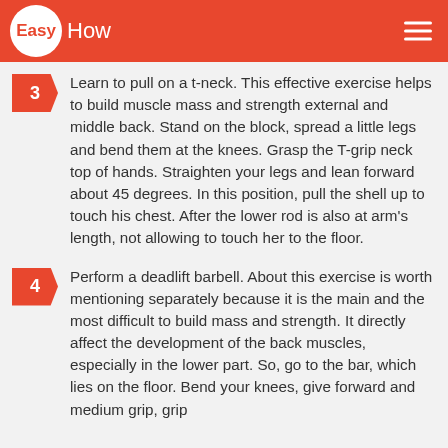EasyHow
Learn to pull on a t-neck. This effective exercise helps to build muscle mass and strength external and middle back. Stand on the block, spread a little legs and bend them at the knees. Grasp the T-grip neck top of hands. Straighten your legs and lean forward about 45 degrees. In this position, pull the shell up to touch his chest. After the lower rod is also at arm's length, not allowing to touch her to the floor.
Perform a deadlift barbell. About this exercise is worth mentioning separately because it is the main and the most difficult to build mass and strength. It directly affect the development of the back muscles, especially in the lower part. So, go to the bar, which lies on the floor. Bend your knees, give forward and medium grip, grip...